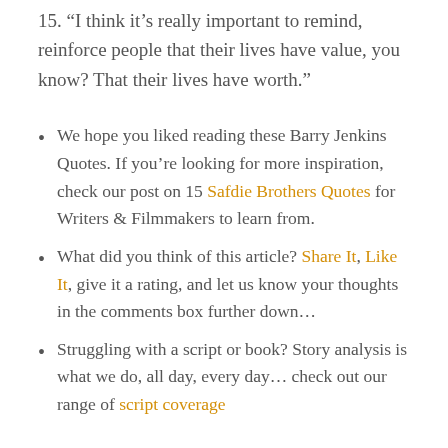15. "I think it's really important to remind, reinforce people that their lives have value, you know? That their lives have worth."
We hope you liked reading these Barry Jenkins Quotes. If you're looking for more inspiration, check our post on 15 Safdie Brothers Quotes for Writers & Filmmakers to learn from.
What did you think of this article? Share It, Like It, give it a rating, and let us know your thoughts in the comments box further down…
Struggling with a script or book? Story analysis is what we do, all day, every day… check out our range of script coverage